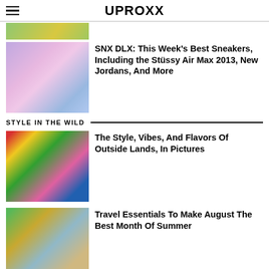UPROXX
[Figure (photo): Partial crop of top article image (colorful background)]
SNX DLX: This Week's Best Sneakers, Including the Stüssy Air Max 2013, New Jordans, And More
STYLE IN THE WILD
[Figure (photo): Colorful collage photo for Outside Lands article]
The Style, Vibes, And Flavors Of Outside Lands, In Pictures
[Figure (photo): Travel essentials product photo with woman in bucket hat]
Travel Essentials To Make August The Best Month Of Summer
FEATURED
[Figure (photo): Two featured article thumbnail images at bottom of page]